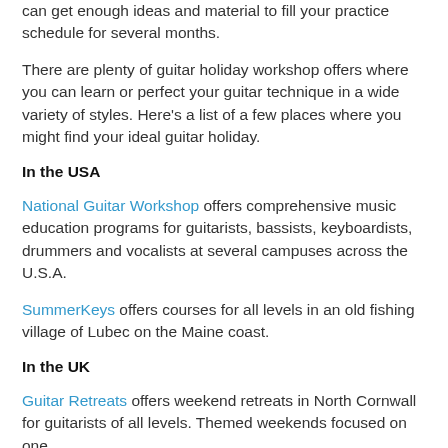can get enough ideas and material to fill your practice schedule for several months.
There are plenty of guitar holiday workshop offers where you can learn or perfect your guitar technique in a wide variety of styles. Here's a list of a few places where you might find your ideal guitar holiday.
In the USA
National Guitar Workshop offers comprehensive music education programs for guitarists, bassists, keyboardists, drummers and vocalists at several campuses across the U.S.A.
SummerKeys offers courses for all levels in an old fishing village of Lubec on the Maine coast.
In the UK
Guitar Retreats offers weekend retreats in North Cornwall for guitarists of all levels. Themed weekends focused on one